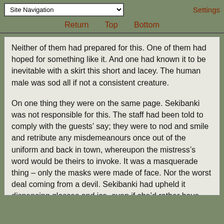Site Navigation | Settings | Return | Top | Bottom
Neither of them had prepared for this. One of them had hoped for something like it. And one had known it to be inevitable with a skirt this short and lacey. The human male was sod all if not a consistent creature.

On one thing they were on the same page. Sekibanki was not responsible for this. The staff had been told to comply with the guests’ say; they were to nod and smile and retribute any misdemeanours once out of the uniform and back in town, whereupon the mistress’s word would be theirs to invoke. It was a masquerade thing – only the masks were made of face. Nor the worst deal coming from a devil. Sekibanki had upheld it dispensing glasses and ice, even if she’d rather have poured it down some belts than debate whether the hands roving her backside had or hadn’t made her smiles more genuine than strictly vocational. She’d heeled her current molester’s foot, but he’d attempted to be funny, so